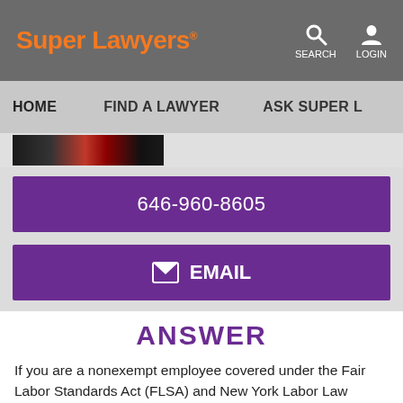Super Lawyers® | SEARCH | LOGIN
HOME | FIND A LAWYER | ASK SUPER L...
[Figure (photo): Partial image strip showing a photo of a person and decorative elements]
646-960-8605
EMAIL
ANSWER
If you are a nonexempt employee covered under the Fair Labor Standards Act (FLSA) and New York Labor Law (NYLL), your employer must typically compensate you at the